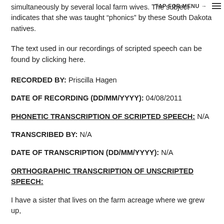simultaneously by several local farm wives. The subject indicates that she was taught “phonics” by these South Dakota natives.
TAP FOR MENU → ☰
The text used in our recordings of scripted speech can be found by clicking here.
RECORDED BY: Priscilla Hagen
DATE OF RECORDING (DD/MM/YYYY): 04/08/2011
PHONETIC TRANSCRIPTION OF SCRIPTED SPEECH: N/A
TRANSCRIBED BY: N/A
DATE OF TRANSCRIPTION (DD/MM/YYYY): N/A
ORTHOGRAPHIC TRANSCRIPTION OF UNSCRIPTED SPEECH:
I have a sister that lives on the farm acreage where we grew up,